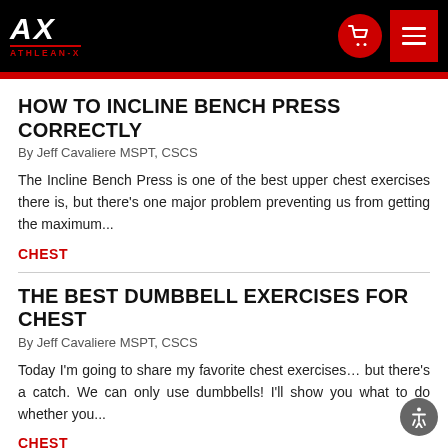ATHLEAN-X
HOW TO INCLINE BENCH PRESS CORRECTLY
By Jeff Cavaliere MSPT, CSCS
The Incline Bench Press is one of the best upper chest exercises there is, but there's one major problem preventing us from getting the maximum...
CHEST
THE BEST DUMBBELL EXERCISES FOR CHEST
By Jeff Cavaliere MSPT, CSCS
Today I'm going to share my favorite chest exercises… but there's a catch. We can only use dumbbells! I'll show you what to do whether you...
CHEST